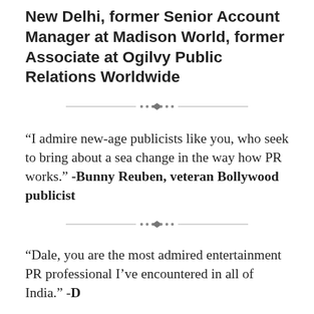New Delhi, former Senior Account Manager at Madison World, former Associate at Ogilvy Public Relations Worldwide
“I admire new-age publicists like you, who seek to bring about a sea change in the way how PR works.” -Bunny Reuben, veteran Bollywood publicist
“Dale, you are the most admired entertainment PR professional I’ve encountered in all of India.” -D